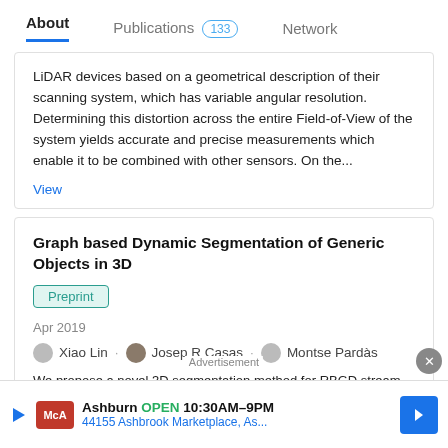About   Publications 133   Network
LiDAR devices based on a geometrical description of their scanning system, which has variable angular resolution. Determining this distortion across the entire Field-of-View of the system yields accurate and precise measurements which enable it to be combined with other sensors. On the...
View
Graph based Dynamic Segmentation of Generic Objects in 3D
Preprint
Apr 2019
Xiao Lin . Josep R Casas . Montse Pardàs
We propose a novel 3D segmentation method for RBGD stream data to deal with 3D object segmentation task in a generic scenario with frequent object interactions. It mainly contributes
Advertisement
Ashburn  OPEN  10:30AM–9PM
44155 Ashbrook Marketplace, As...